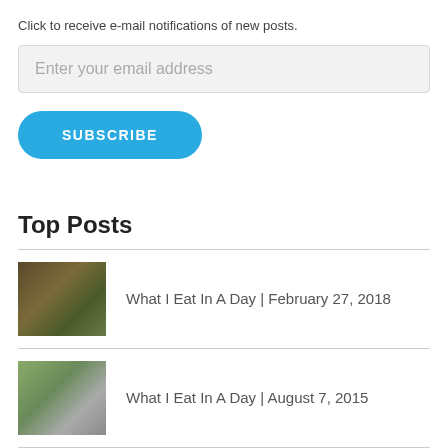Click to receive e-mail notifications of new posts.
Enter your email address
SUBSCRIBE
Top Posts
What I Eat In A Day | February 27, 2018
What I Eat In A Day | August 7, 2015
Sushi | Veganized